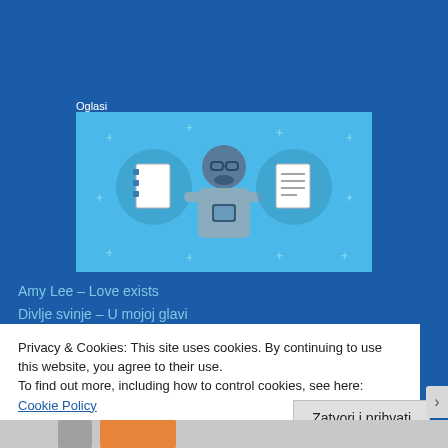Oglasi
[Figure (illustration): Ad banner with light blue background showing a cartoon person holding a phone, flanked by two circular icons: one with a blank notepad and one with a lined notepad/document. Small plus signs scattered in background.]
Amy Lee – Love exists
Divlje svinje – U mojoj glavi
Privacy & Cookies: This site uses cookies. By continuing to use this website, you agree to their use.
To find out more, including how to control cookies, see here: Cookie Policy
Zatvori i prihvati